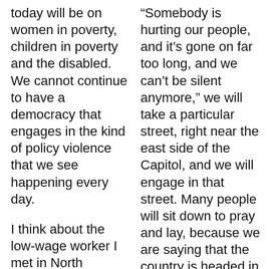today will be on women in poverty, children in poverty and the disabled. We cannot continue to have a democracy that engages in the kind of policy violence that we see happening every day.
I think about the low-wage worker I met in North Carolina who could not get insurance, because North Carolina did not expand Medicaid, and was also sick with ovarian cancer and has children. Or Amy in West
“Somebody is hurting our people, and it’s gone on far too long, and we can’t be silent anymore,” we will take a particular street, right near the east side of the Capitol, and we will engage in that street. Many people will sit down to pray and lay, because we are saying that the country is headed in the wrong direction. That’s why today it’s the street. Later on, it will be other places in D.C. But today it’s the street, because